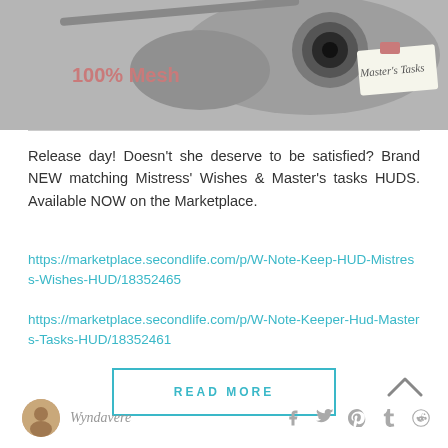[Figure (photo): Product photo of a gray 3D mesh head-mounted device with a note labeled 'Master's Tasks'. Text '100% Mesh' in pink overlaid on the left side.]
Release day! Doesn’t she deserve to be satisfied? Brand NEW matching Mistress’ Wishes & Master’s tasks HUDS. Available NOW on the Marketplace.
https://marketplace.secondlife.com/p/W-Note-Keep-HUD-Mistress-Wishes-HUD/18352465
https://marketplace.secondlife.com/p/W-Note-Keeper-Hud-Masters-Tasks-HUD/18352461
READ MORE
Wyndavere